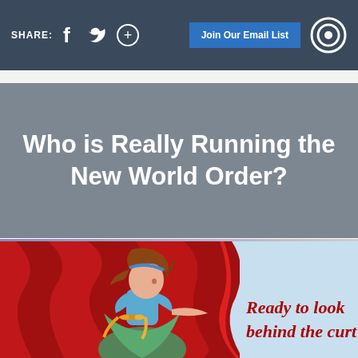SHARE: [Facebook] [Twitter] [+]  Join Our Email List  [Constant Contact icon]
Who is Really Running the New World Order?
[Figure (illustration): Illustrated girl in blue dress with orange bow pulling back a red curtain, with text 'Ready to look behind the curt' visible on the right side on a light blue background]